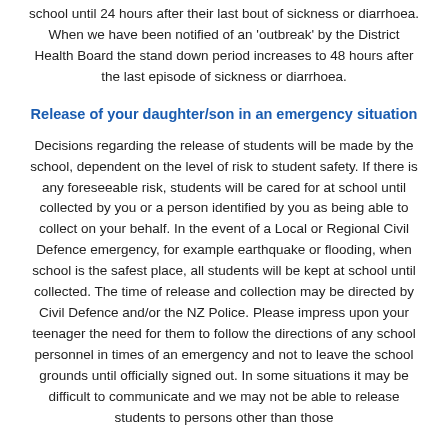school until 24 hours after their last bout of sickness or diarrhoea. When we have been notified of an 'outbreak' by the District Health Board the stand down period increases to 48 hours after the last episode of sickness or diarrhoea.
Release of your daughter/son in an emergency situation
Decisions regarding the release of students will be made by the school, dependent on the level of risk to student safety. If there is any foreseeable risk, students will be cared for at school until collected by you or a person identified by you as being able to collect on your behalf. In the event of a Local or Regional Civil Defence emergency, for example earthquake or flooding, when school is the safest place, all students will be kept at school until collected. The time of release and collection may be directed by Civil Defence and/or the NZ Police. Please impress upon your teenager the need for them to follow the directions of any school personnel in times of an emergency and not to leave the school grounds until officially signed out. In some situations it may be difficult to communicate and we may not be able to release students to persons other than those